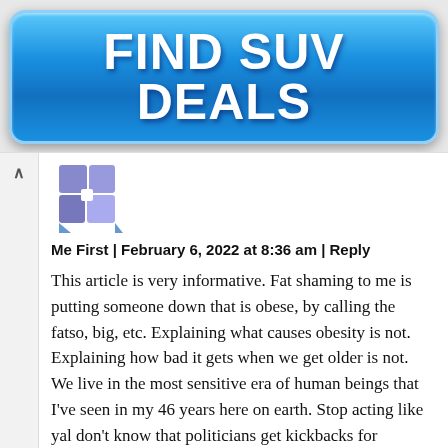[Figure (other): Blue advertisement banner button with text FIND SUV DEALS in bold white letters]
[Figure (other): User avatar image showing a purple/blue puzzle piece or abstract icon placeholder]
Me First | February 6, 2022 at 8:36 am | Reply
This article is very informative. Fat shaming to me is putting someone down that is obese, by calling the fatso, big, etc. Explaining what causes obesity is not. Explaining how bad it gets when we get older is not. We live in the most sensitive era of human beings that I've seen in my 46 years here on earth. Stop acting like yal don't know that politicians get kickbacks for allowing these chemicals in